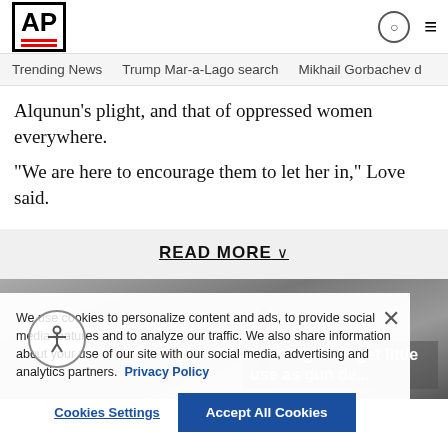AP
Trending News   Trump Mar-a-Lago search   Mikhail Gorbachev d
Alqunun's plight, and that of oppressed women everywhere.
“We are here to encourage them to let her in,” Love said.
READ MORE
[Figure (photo): News photo with overlay text 'Red flag laws get little use as [gun de...]']
We use cookies to personalize content and ads, to provide social media features and to analyze our traffic. We also share information about your use of our site with our social media, advertising and analytics partners. Privacy Policy
Cookies Settings   Accept All Cookies